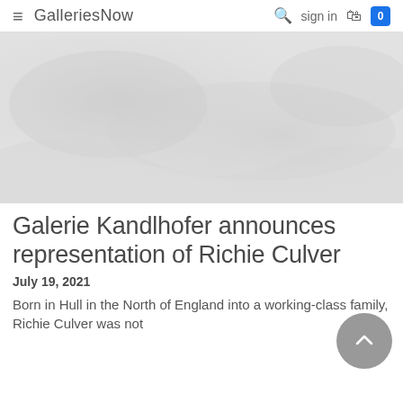GalleriesNow  sign in  0
[Figure (photo): Faded white/grey abstract photo, likely depicting draped fabric or bedding, very light tones]
Galerie Kandlhofer announces representation of Richie Culver
July 19, 2021
Born in Hull in the North of England into a working-class family, Richie Culver was not...